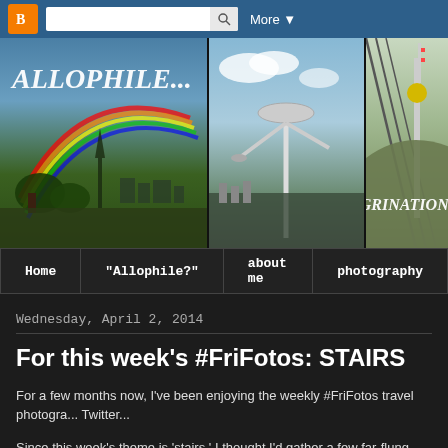[Figure (screenshot): Blogger navigation bar with orange Blogger icon, search box, and More button on dark blue background]
[Figure (photo): Blog header banner with three travel photos: Paris with rainbow and Eiffel Tower, a modern architectural structure against blue sky, and a communications tower on a hill. Text overlay reads ALLOPHILE... and ...PEREGRINATIONS, G]
Home | "Allophile?" | about me | photography
Wednesday, April 2, 2014
For this week's #FriFotos: STAIRS
For a few months now, I've been enjoying the weekly #FriFotos travel photogra... Twitter...
Since this week's theme is 'stairs,' I thought I'd gather a few far-flung scenes for... Canada to Guatemala, and a few Desert Southwest locales as well.